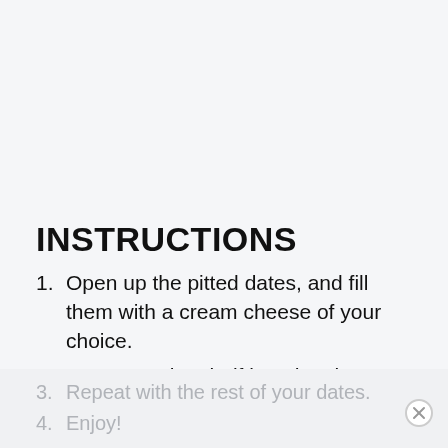INSTRUCTIONS
Open up the pitted dates, and fill them with a cream cheese of your choice.
Press a walnut half into the cheese filled dates.
Repeat with the rest of your dates.
Enjoy!